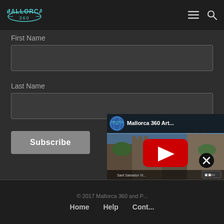[Figure (logo): Mallorca 360 logo with teal text and orbital ring design]
First Name
Last Name
Subscribe
[Figure (screenshot): YouTube video thumbnail showing Mallorca 360 Art... with castle scene and VR badge, with close (X) button]
© 2017 Mallorca 360 and P...   Home   Help   Cont...